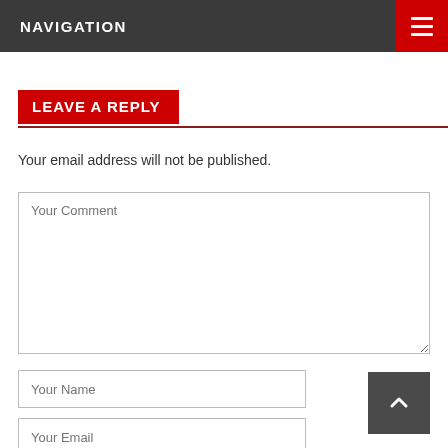NAVIGATION
LEAVE A REPLY
Your email address will not be published.
Your Comment
Your Name
Your Email